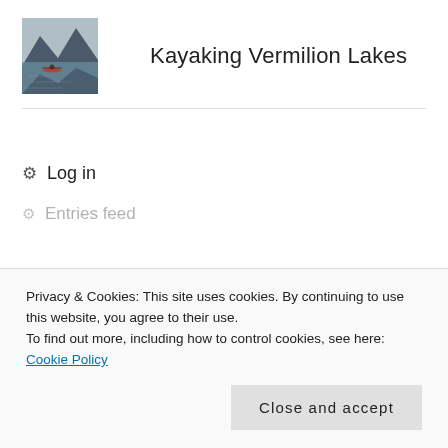[Figure (photo): Small thumbnail photo of a lake with mountains reflected in calm water, person kayaking visible]
Kayaking Vermilion Lakes
Log in
Entries feed
Privacy & Cookies: This site uses cookies. By continuing to use this website, you agree to their use.
To find out more, including how to control cookies, see here: Cookie Policy
Close and accept